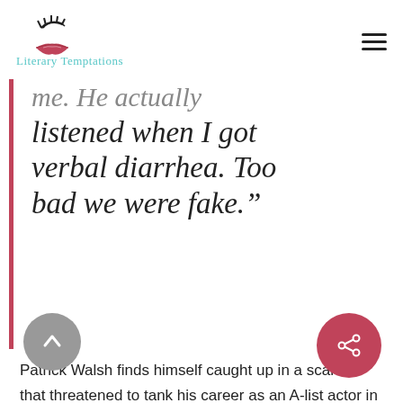Literary Temptations
me. He actually listened when I got verbal diarrhea. Too bad we were fake."
Patrick Walsh finds himself caught up in a scandal that threatened to tank his career as an A-list actor in Hollywood. In a bid to clear his name and somewhat endear himself to the public again, he takes drastic measures that will supposed to portray him, not only as